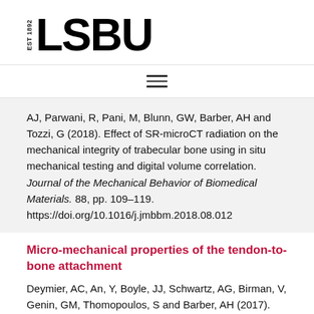[Figure (logo): LSBU logo with EST 1892 text and bold LSBU wordmark]
[Figure (other): Hamburger navigation menu icon (three horizontal lines)]
AJ, Parwani, R, Pani, M, Blunn, GW, Barber, AH and Tozzi, G (2018). Effect of SR-microCT radiation on the mechanical integrity of trabecular bone using in situ mechanical testing and digital volume correlation. Journal of the Mechanical Behavior of Biomedical Materials. 88, pp. 109-119. https://doi.org/10.1016/j.jmbbm.2018.08.012
Micro-mechanical properties of the tendon-to-bone attachment
Deymier, AC, An, Y, Boyle, JJ, Schwartz, AG, Birman, V, Genin, GM, Thomopoulos, S and Barber, AH (2017). Micro-mechanical properties of the tendon-to-bone attachment. Acta Biomaterialia. 56, pp.